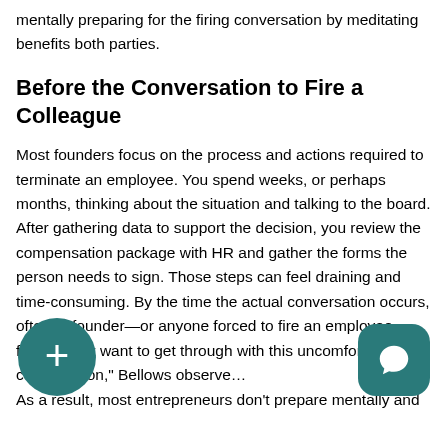mentally preparing for the firing conversation by meditating benefits both parties.
Before the Conversation to Fire a Colleague
Most founders focus on the process and actions required to terminate an employee. You spend weeks, or perhaps months, thinking about the situation and talking to the board. After gathering data to support the decision, you review the compensation package with HR and gather the forms the person needs to sign. Those steps can feel draining and time-consuming. By the time the actual conversation occurs, often, a founder—or anyone forced to fire an employee— feels, "I just want to get through with this uncomfortable conversation," Bellows observe…
As a result, most entrepreneurs don't prepare mentally and